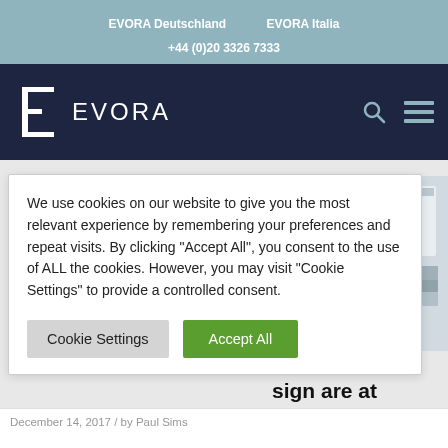EVORA Deutschland   EVORA Italia
+44 (0)20 3326 7333
[Figure (logo): EVORA logo with bracket C-shape and search/hamburger icons on dark navy navigation bar]
We use cookies on our website to give you the most relevant experience by remembering your preferences and repeat visits. By clicking “Accept All”, you consent to the use of ALL the cookies. However, you may visit “Cookie Settings” to provide a controlled consent.
Cookie Settings   Accept All
[Figure (photo): Photo of stacked books, blueprints and a white binder/folder on a desk]
: How
sign are at
December 14, 2017 / by Paul Sims